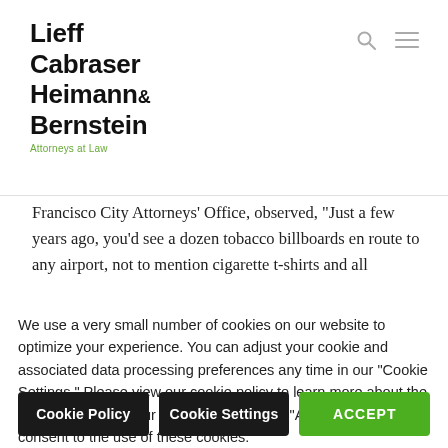Lieff Cabraser Heimann & Bernstein — Attorneys at Law
Francisco City Attorneys' Office, observed, “Just a few years ago, you’d see a dozen tobacco billboards en route to any airport, not to mention cigarette t-shirts and all
We use a very small number of cookies on our website to optimize your experience. You can adjust your cookie and associated data processing preferences any time in our “Cookie Settings.” Please view our cookie policy to learn more about the use of cookies on our website. By clicking “Accept”, you consent to the use of these cookies.
Do not sell my personal information
Cookie Policy | Cookie Settings | ACCEPT